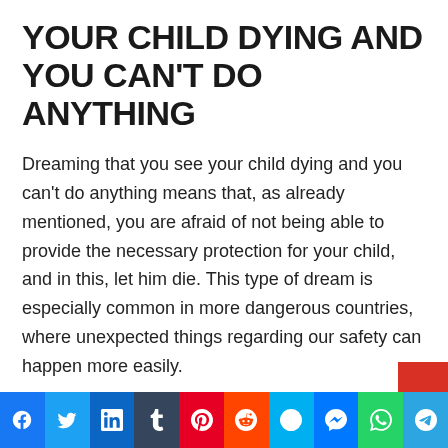YOUR CHILD DYING AND YOU CAN'T DO ANYTHING
Dreaming that you see your child dying and you can't do anything means that, as already mentioned, you are afraid of not being able to provide the necessary protection for your child, and in this, let him die. This type of dream is especially common in more dangerous countries, where unexpected things regarding our safety can happen more easily.
So, dreaming about this theme represents all the fear and impotence we feel in relation to fragility and the possible danger that loved ones, such as children, may be subject to.